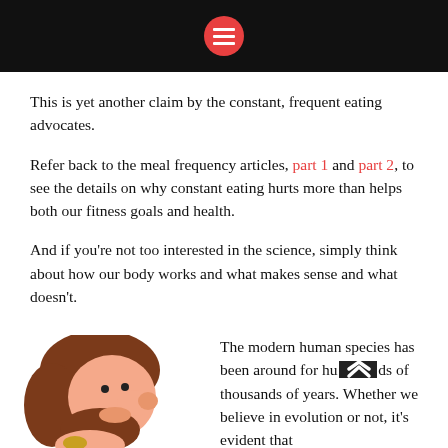This is yet another claim by the constant, frequent eating advocates.
Refer back to the meal frequency articles, part 1 and part 2, to see the details on why constant eating hurts more than helps both our fitness goals and health.
And if you're not too interested in the science, simply think about how our body works and what makes sense and what doesn't.
[Figure (illustration): Cartoon caveman with brown hair and beard, looking to the right with a thoughtful expression]
The modern human species has been around for hundreds of thousands of years. Whether we believe in evolution or not, it's evident that